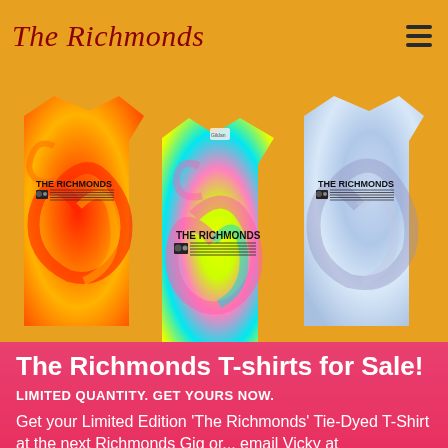The Richmonds
[Figure (photo): Three tie-dyed t-shirts with 'THE RICHMONDS' logo printed on them. Left shirt is orange/red tie-dye, center shirt is yellow/neon with pink and blue swirls, right shirt is light blue/lavender tie-dye. All shirts show a boombox graphic with musical staff under the text 'THE RICHMONDS'.]
The Richmonds T-shirts for Sale!
LIMITED QUANTITY. GET YOURS NOW.
Get your Limited Edition 'The Richmonds' Tie-Dyed T-Shirt at the next Richmonds Gig or... email Vicky at